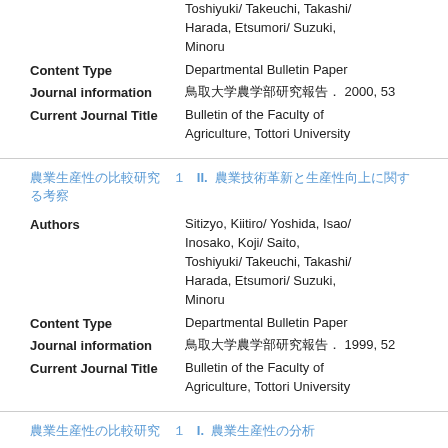| Field | Value |
| --- | --- |
| Content Type | Departmental Bulletin Paper |
| Journal information | 鳥取大学農学部研究報告. 2000, 53 |
| Current Journal Title | Bulletin of the Faculty of Agriculture, Tottori University |
農業生産性の比較研究　Ⅱ. 農業技術革新と生産性向上に関する考察
| Field | Value |
| --- | --- |
| Authors | Sitizyo, Kiitiro/ Yoshida, Isao/ Inosako, Koji/ Saito, Toshiyuki/ Takeuchi, Takashi/ Harada, Etsumori/ Suzuki, Minoru |
| Content Type | Departmental Bulletin Paper |
| Journal information | 鳥取大学農学部研究報告. 1999, 52 |
| Current Journal Title | Bulletin of the Faculty of Agriculture, Tottori University |
農業生産性の比較研究　Ⅰ. 農業生産性の分析
| Field | Value |
| --- | --- |
| Authors | Sitizyo, Kiitiro/ Saito, |